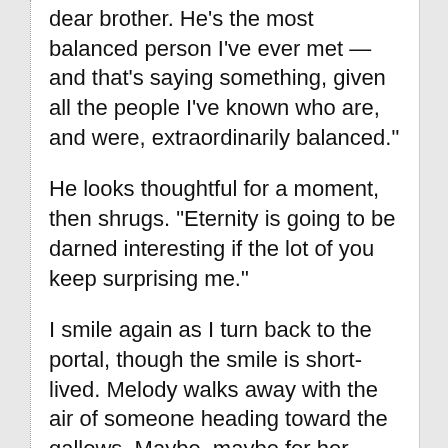dear brother. He's the most balanced person I've ever met — and that's saying something, given all the people I've known who are, and were, extraordinarily balanced."
He looks thoughtful for a moment, then shrugs. "Eternity is going to be darned interesting if the lot of you keep surprising me."
I smile again as I turn back to the portal, though the smile is short-lived. Melody walks away with the air of someone heading toward the gallows. Maybe, maybe for her, those drugs she takes are as bad as death.
"That poor kid is afraid . . . and hurting so much. Is this another missing scene from the first run? That would make sense if it's the same day and she's heading over to get drugged out of her